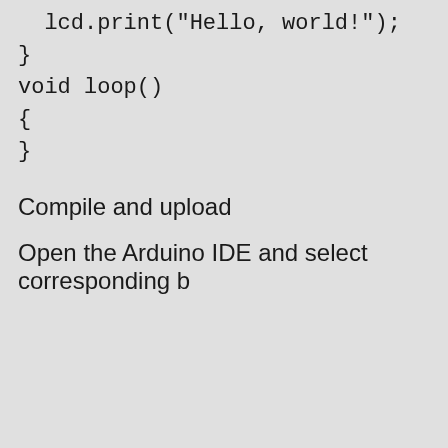lcd.print("Hello, world!");
}
void loop()
{
}
Compile and upload
Open the Arduino IDE and select corresponding b